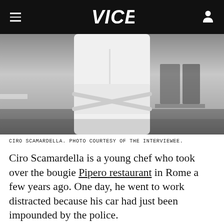VICE
[Figure (photo): A chef in white uniform standing in a restaurant setting, arms crossed, shot from neck to waist. Black and white or desaturated photo. Tables and chairs visible in background.]
CIRO SCAMARDELLA. PHOTO COURTESY OF THE INTERVIEWEE.
Ciro Scamardella is a young chef who took over the bougie Pipero restaurant in Rome a few years ago. One day, he went to work distracted because his car had just been impounded by the police.
“I started sharpening some knives on a honing steel [knife sharpener],” he says. “I was